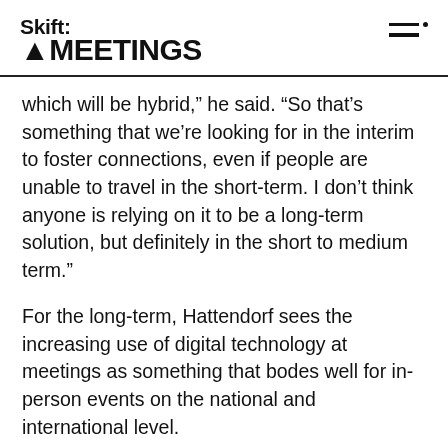Skift MEETINGS
which will be hybrid,” he said. “So that’s something that we’re looking for in the interim to foster connections, even if people are unable to travel in the short-term. I don’t think anyone is relying on it to be a long-term solution, but definitely in the short to medium term.”
For the long-term, Hattendorf sees the increasing use of digital technology at meetings as something that bodes well for in-person events on the national and international level.
“Digital event experiences drive the wish from people who haven’t been to a physical event to